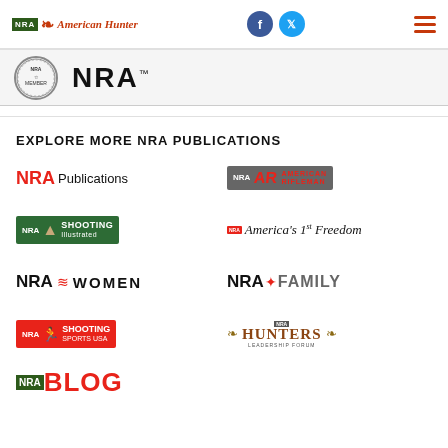NRA American Hunter | NRA Publications - header with social icons (Facebook, Twitter) and menu
[Figure (logo): NRA member badge (circular seal) and NRA wordmark]
EXPLORE MORE NRA PUBLICATIONS
[Figure (logo): NRA Publications logo]
[Figure (logo): NRA American Rifleman logo]
[Figure (logo): NRA Shooting Illustrated logo]
[Figure (logo): NRA America's 1st Freedom logo]
[Figure (logo): NRA Women logo]
[Figure (logo): NRA Family logo]
[Figure (logo): NRA Shooting Sports USA logo]
[Figure (logo): Hunters Leadership Forum logo]
[Figure (logo): NRA Blog logo (partially visible)]